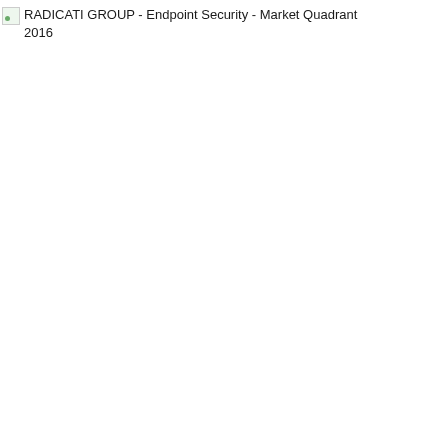RADICATI GROUP - Endpoint Security - Market Quadrant 2016